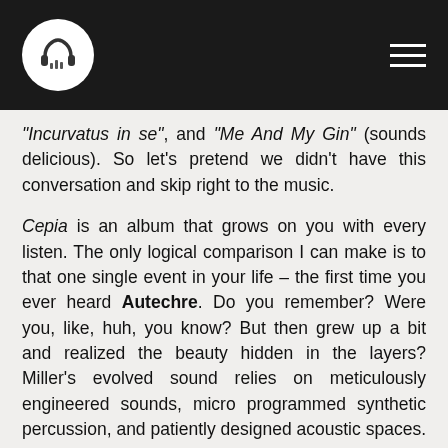[Logo: headphones icon] [Hamburger menu]
"Incurvatus in se", and "Me And My Gin" (sounds delicious). So let's pretend we didn't have this conversation and skip right to the music.
Cepia is an album that grows on you with every listen. The only logical comparison I can make is to that one single event in your life – the first time you ever heard Autechre. Do you remember? Were you, like, huh, you know? But then grew up a bit and realized the beauty hidden in the layers? Miller's evolved sound relies on meticulously engineered sounds, micro programmed synthetic percussion, and patiently designed acoustic spaces. The sound is incredibly abstract, and indeed experimental in nature, showcasing ever molding branches of electronic music.